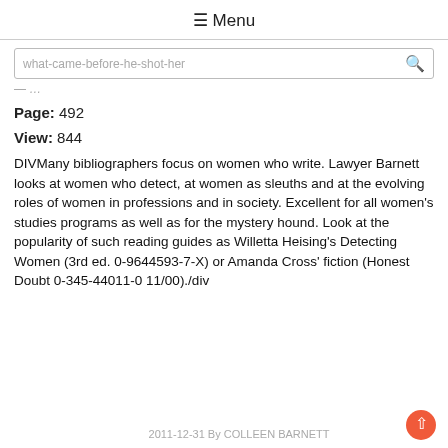☰ Menu
what-came-before-he-shot-her
Page: 492
View: 844
DIVMany bibliographers focus on women who write. Lawyer Barnett looks at women who detect, at women as sleuths and at the evolving roles of women in professions and in society. Excellent for all women's studies programs as well as for the mystery hound. Look at the popularity of such reading guides as Willetta Heising's Detecting Women (3rd ed. 0-9644593-7-X) or Amanda Cross' fiction (Honest Doubt 0-345-44011-0 11/00)./div
2011-12-31 By COLLEEN BARNETT